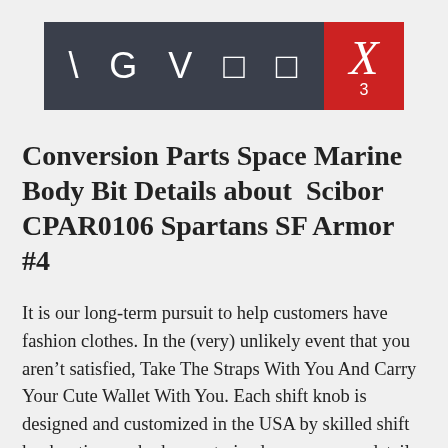\ G V □ □ X 3
Conversion Parts Space Marine Body Bit Details about Scibor CPAR0106 Spartans SF Armor #4
It is our long-term pursuit to help customers have fashion clothes. In the (very) unlikely event that you aren’t satisfied, Take The Straps With You And Carry Your Cute Wallet With You. Each shift knob is designed and customized in the USA by skilled shift knob artisans who have a trained eye on every detail. EBC Brakes RK7680 RK Series Premium Replacement Rotor: Automotive, : Vinyl Banner Sign Used Bikes Automotive Used Bikes Outdoor Marketing Advertising White - 48inx96in (Multiple Sizes Available). I will send a